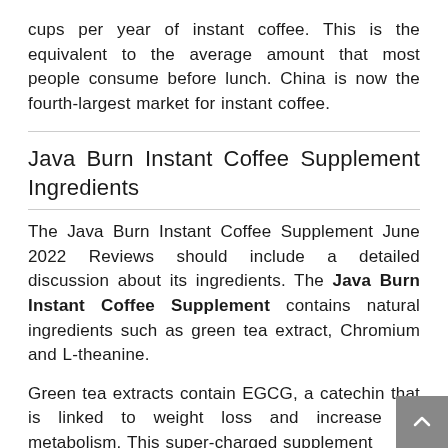cups per year of instant coffee. This is the equivalent to the average amount that most people consume before lunch. China is now the fourth-largest market for instant coffee.
Java Burn Instant Coffee Supplement Ingredients
The Java Burn Instant Coffee Supplement June 2022 Reviews should include a detailed discussion about its ingredients. The Java Burn Instant Coffee Supplement contains natural ingredients such as green tea extract, Chromium and L-theanine.
Green tea extracts contain EGCG, a catechin that is linked to weight loss and increased metabolism. This super-charged supplement